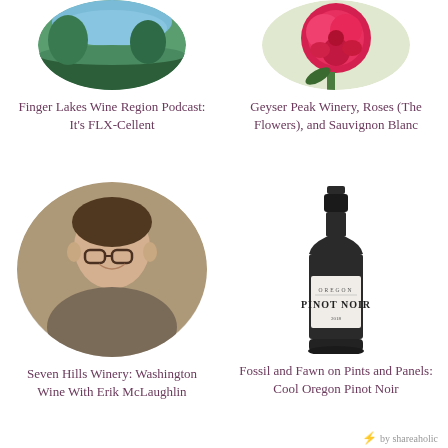[Figure (photo): Circular photo of a landscape, likely coastal cliffs or a lake region with green terrain]
[Figure (photo): Circular photo of a red rose flower with green leaves]
Finger Lakes Wine Region Podcast: It's FLX-Cellent
Geyser Peak Winery, Roses (The Flowers), and Sauvignon Blanc
[Figure (photo): Circular photo of a man with glasses smiling at a wine event]
[Figure (photo): Photo of a wine bottle labeled Oregon Pinot Noir]
Seven Hills Winery: Washington Wine With Erik McLaughlin
Fossil and Fawn on Pints and Panels: Cool Oregon Pinot Noir
by shareaholic